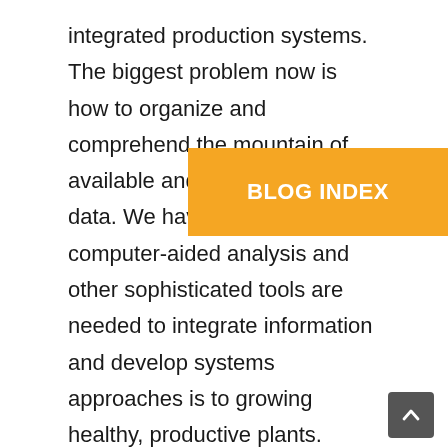integrated production systems. The biggest problem now is how to organize and comprehend the mountain of available and often conflicting data. We have in which computer-aided analysis and other sophisticated tools are needed to integrate information and develop systems approaches is to growing healthy, productive plants.

One of the most rewarding approaches for the successful reduction of soilborne diseases is the proper selection and utilization of macro- and microelements. Since virtually all commercially produced crops in the
[Figure (other): Orange/yellow button overlay labeled BLOG INDEX]
[Figure (other): Dark grey scroll-to-top button with upward caret arrow in bottom right corner]